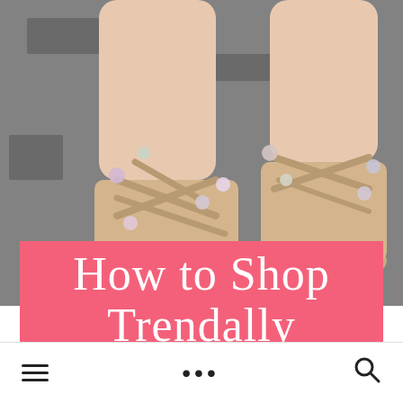[Figure (photo): Overhead view of a person's feet wearing beige gladiator sandals with pom-pom decorations and red toenail polish, standing on asphalt with a yellow painted arrow/chevron visible.]
How to Shop Trendally
≡  •••  🔍